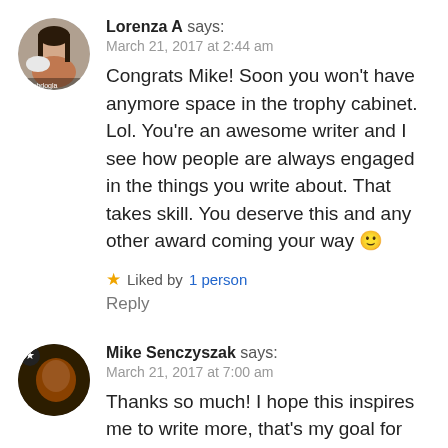[Figure (photo): Avatar photo of Lorenza A, a woman with long dark hair holding a small white dog, circular crop]
Lorenza A says:
March 21, 2017 at 2:44 am
Congrats Mike! Soon you won't have anymore space in the trophy cabinet. Lol. You're an awesome writer and I see how people are always engaged in the things you write about. That takes skill. You deserve this and any other award coming your way 🙂
★ Liked by 1 person
Reply
[Figure (photo): Avatar photo of Mike Senczyszak, a man with warm lighting, circular crop with star badge]
Mike Senczyszak says:
March 21, 2017 at 7:00 am
Thanks so much! I hope this inspires me to write more, that's my goal for 2017. Always appreciate your